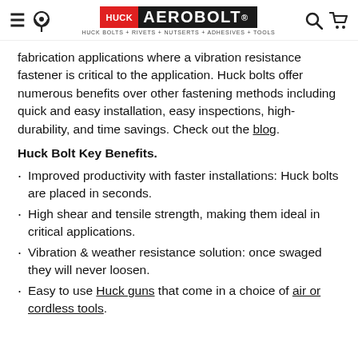HUCK AEROBOLT® — HUCK BOLTS + RIVETS + NUTSERTS + ADHESIVES + TOOLS
fabrication applications where a vibration resistance fastener is critical to the application. Huck bolts offer numerous benefits over other fastening methods including quick and easy installation, easy inspections, high-durability, and time savings. Check out the blog.
Huck Bolt Key Benefits.
Improved productivity with faster installations: Huck bolts are placed in seconds.
High shear and tensile strength, making them ideal in critical applications.
Vibration & weather resistance solution: once swaged they will never loosen.
Easy to use Huck guns that come in a choice of air or cordless tools.